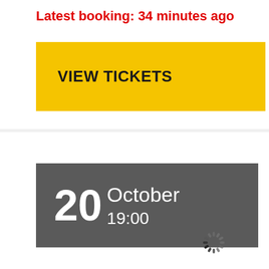Latest booking: 34 minutes ago
VIEW TICKETS
20 October 19:00
[Figure (illustration): Loading spinner graphic (circular dashed loader icon)]